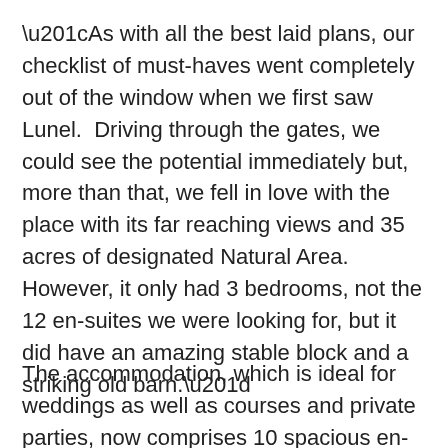“As with all the best laid plans, our checklist of must-haves went completely out of the window when we first saw Lunel.  Driving through the gates, we could see the potential immediately but, more than that, we fell in love with the place with its far reaching views and 35 acres of designated Natural Area.  However, it only had 3 bedrooms, not the 12 en-suites we were looking for, but it did have an amazing stable block and a striking old barn.”
The accommodation, which is ideal for weddings as well as courses and private parties, now comprises 10 spacious en-suite bedrooms, including two self-